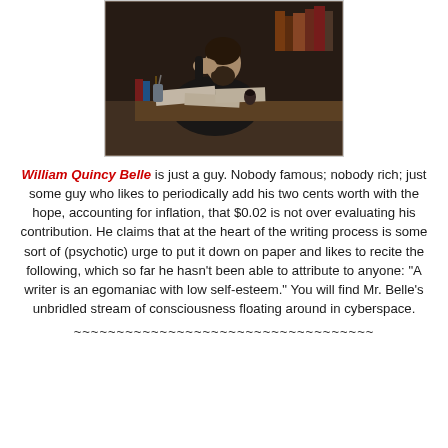[Figure (illustration): Painting of a man with a beard sitting at a desk covered with papers and books, resting his head on one hand, appearing to be in deep thought or distressed, with books stacked in the background.]
William Quincy Belle is just a guy. Nobody famous; nobody rich; just some guy who likes to periodically add his two cents worth with the hope, accounting for inflation, that $0.02 is not over evaluating his contribution. He claims that at the heart of the writing process is some sort of (psychotic) urge to put it down on paper and likes to recite the following, which so far he hasn't been able to attribute to anyone: "A writer is an egomaniac with low self-esteem." You will find Mr. Belle's unbridled stream of consciousness floating around in cyberspace.
~~~~~~~~~~~~~~~~~~~~~~~~~~~~~~~~~~~